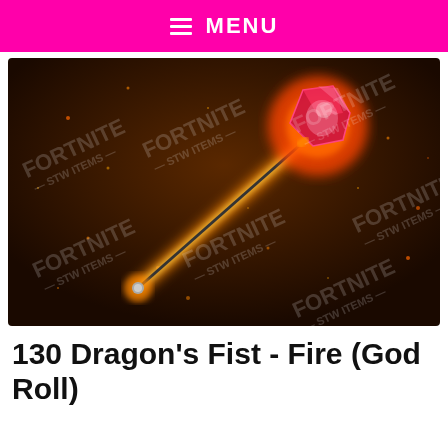MENU
[Figure (photo): A fiery Dragon's Fist weapon from Fortnite STW. The weapon glows with orange/yellow fire along its handle and has a bright red/pink crystalline head. The background is dark brown with scattered orange sparks. Watermark text 'FORTNITE STW ITEMS' repeated across the image.]
130 Dragon's Fist - Fire (God Roll)